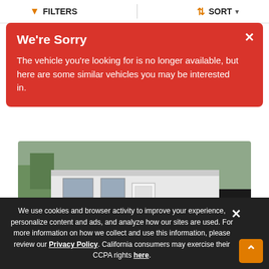FILTERS  SORT
We're Sorry
The vehicle you're looking for is no longer available, but here are some similar vehicles you may be interested in.
[Figure (photo): Photo of a 2023 Grand Design Imagine 2600RB travel trailer RV, white and black, parked on gravel outdoors]
2023 Grand Design Imagine 2600RB
Call for Price
We use cookies and browser activity to improve your experience, personalize content and ads, and analyze how our sites are used. For more information on how we collect and use this information, please review our Privacy Policy. California consumers may exercise their CCPA rights here.